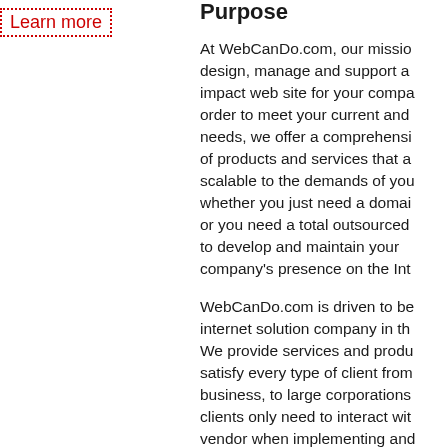Learn more
Purpose
At WebCanDo.com, our mission is to design, manage and support a high impact web site for your company. In order to meet your current and future needs, we offer a comprehensive suite of products and services that are scalable to the demands of your business, whether you just need a domain name, or you need a total outsourced solution to develop and maintain your company's presence on the Internet.
WebCanDo.com is driven to be the best internet solution company in the world. We provide services and products that satisfy every type of client from small business, to large corporations. Our clients only need to interact with one vendor when implementing and maintaining their web site.